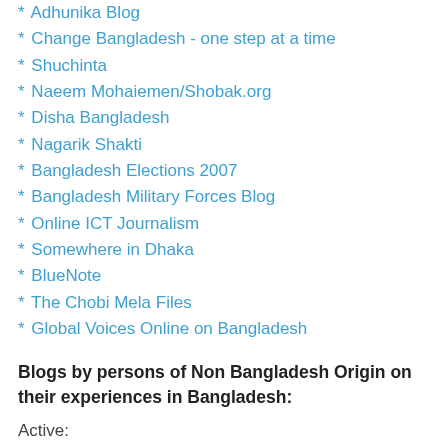* Adhunika Blog
* Change Bangladesh - one step at a time
* Shuchinta
* Naeem Mohaiemen/Shobak.org
* Disha Bangladesh
* Nagarik Shakti
* Bangladesh Elections 2007
* Bangladesh Military Forces Blog
* Online ICT Journalism
* Somewhere in Dhaka
* BlueNote
* The Chobi Mela Files
* Global Voices Online on Bangladesh
Blogs by persons of Non Bangladesh Origin on their experiences in Bangladesh:
Active:
* Morris the pen
* What's cooking abroad?
* Haseen♥Mawa♥Views
* Akash and Nila